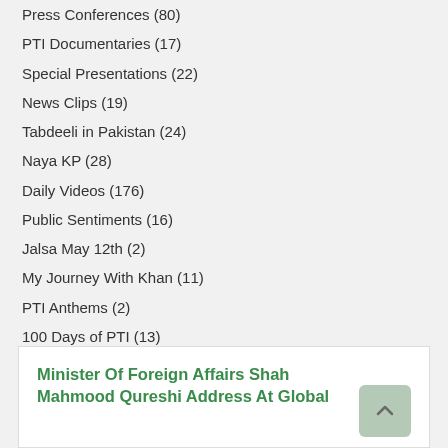Press Conferences (80)
PTI Documentaries (17)
Special Presentations (22)
News Clips (19)
Tabdeeli in Pakistan (24)
Naya KP (28)
Daily Videos (176)
Public Sentiments (16)
Jalsa May 12th (2)
My Journey With Khan (11)
PTI Anthems (2)
100 Days of PTI (13)
Interviews (15)
Fake News (1)
Minister Of Foreign Affairs Shah Mahmood Qureshi Address At Global